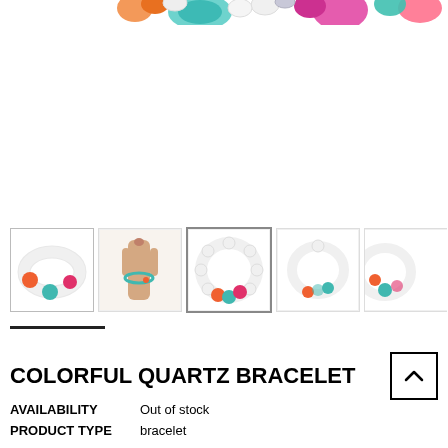[Figure (photo): Close-up of colorful bead bracelets with orange, teal, pink, and white beads on white background, top partially cropped]
[Figure (photo): Row of five thumbnail product photos showing colorful quartz bead bracelets from different angles]
COLORFUL QUARTZ BRACELET
AVAILABILITY   Out of stock
PRODUCT TYPE   bracelet